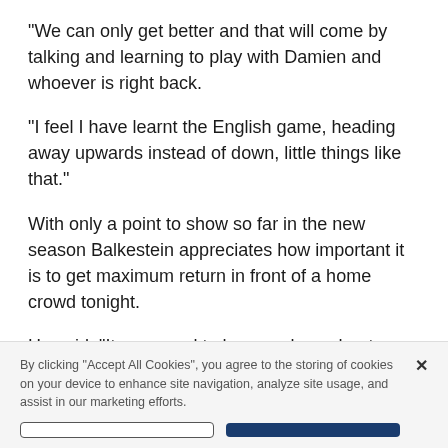“We can only get better and that will come by talking and learning to play with Damien and whoever is right back.
“I feel I have learnt the English game, heading away upwards instead of down, little things like that.”
With only a point to show so far in the new season Balkestein appreciates how important it is to get maximum return in front of a home crowd tonight.
He said: “It was good to have a clean sheet on Saturday but it was disappointing not to get all three points and we have to improve our game. It is important that we get all three points against Palace
By clicking “Accept All Cookies”, you agree to the storing of cookies on your device to enhance site navigation, analyze site usage, and assist in our marketing efforts.